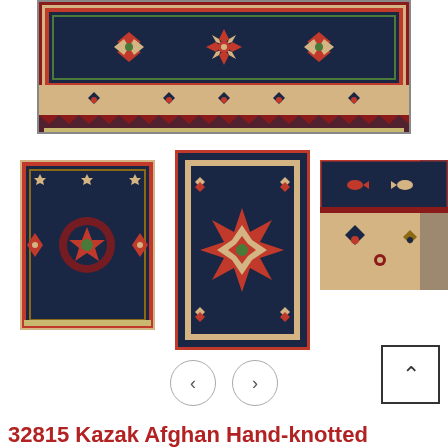[Figure (photo): Close-up of Afghan Kazak hand-knotted rug showing navy blue field with red and cream geometric floral border patterns]
[Figure (photo): Thumbnail 1: Full view of Afghan Kazak hand-knotted rug with navy blue center and cream/red border]
[Figure (photo): Thumbnail 2: Close-up view of rug center medallion with red, navy, and cream star/snowflake geometric pattern]
[Figure (photo): Thumbnail 3: Corner detail of the rug showing cream field with navy and red geometric motifs]
32815  Kazak Afghan Hand-knotted